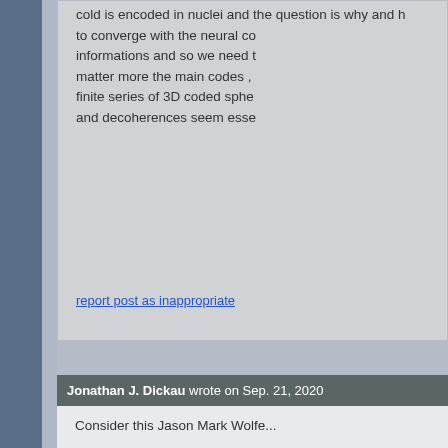cold is encoded in nuclei and the question is why and h to converge with the neural co informations and so we need t matter more the main codes , finite series of 3D coded sphe and decoherences seem esse
report post as inappropriate
Jonathan J. Dickau wrote on Sep. 21, 2020
Consider this Jason Mark Wolfe...
Scientists attempt to hold themselv evidence-based proofs or sound lo to label scientists as deficient, for f
You may have individual experienc cursed, because it's not like the fa palpable for them. Then there is thi you, and how do we know?"